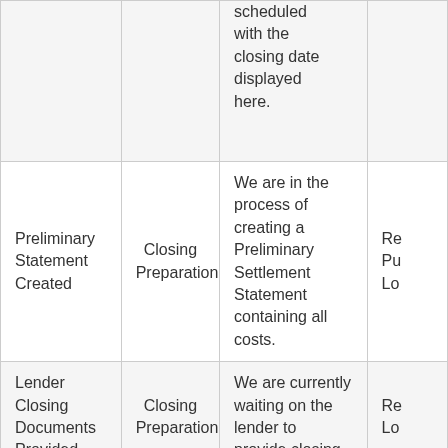|  |  | scheduled with the closing date displayed here. |  |
| Preliminary Statement Created | Closing Preparation | We are in the process of creating a Preliminary Settlement Statement containing all costs. | Re Pu Lo |
| Lender Closing Documents Provided | Closing Preparation | We are currently waiting on the lender to provide closing | Re Lo |